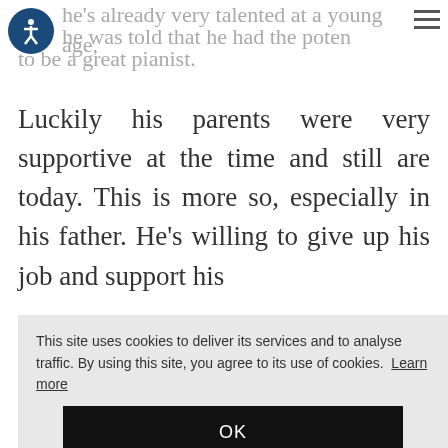He's already very talented at a young age, he was told that he had the potential to be a great pianist.
Luckily his parents were very supportive at the time and still are today. This is more so, especially in his father. He's willing to give up his job and support his
[Figure (screenshot): Cookie consent overlay with text: 'This site uses cookies to deliver its services and to analyse traffic. By using this site, you agree to its use of cookies. Learn more' and an OK button. Partial text visible to the right: 'use', 'job,']
They borrowed money to enter